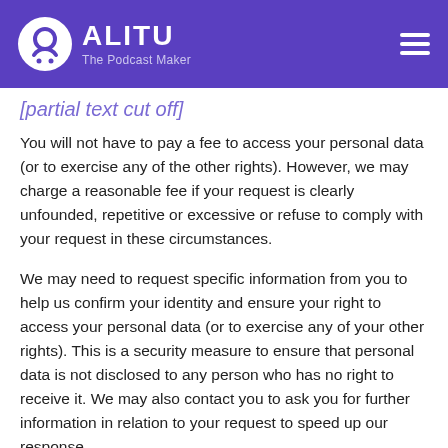ALITU — The Podcast Maker
[partial text cut off at top]
You will not have to pay a fee to access your personal data (or to exercise any of the other rights). However, we may charge a reasonable fee if your request is clearly unfounded, repetitive or excessive or refuse to comply with your request in these circumstances.
We may need to request specific information from you to help us confirm your identity and ensure your right to access your personal data (or to exercise any of your other rights). This is a security measure to ensure that personal data is not disclosed to any person who has no right to receive it. We may also contact you to ask you for further information in relation to your request to speed up our response.